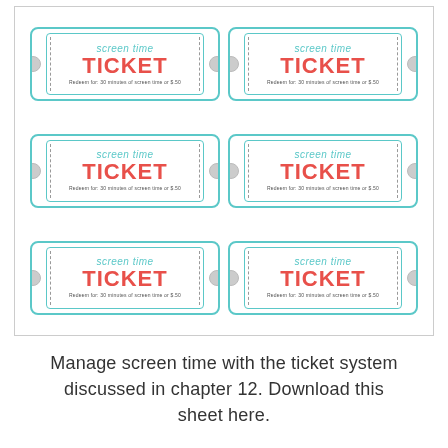[Figure (illustration): A printable sheet of 6 'screen time TICKET' coupons arranged in a 2x3 grid. Each ticket has a teal border with decorative inner border, dashed stub lines, circular notches on the sides, 'screen time' in teal italic script, 'TICKET' in large red bold text, and small text 'Redeem for: 30 minutes of screen time or $.50' at the bottom.]
Manage screen time with the ticket system discussed in chapter 12. Download this sheet here.